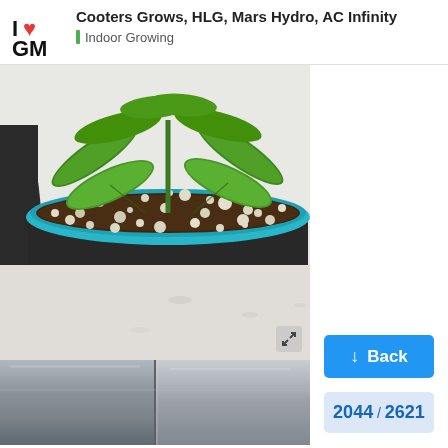Cooters Grows, HLG, Mars Hydro, AC Infinity | Indoor Growing
[Figure (photo): Top-down view of a young cannabis plant growing in a black fabric pot with dark soil and white perlite, teal-blue rim, on a white surface with another dark pot visible to the left.]
[Figure (photo): Close-up of a reflective metallic/mylar surface with a vertical seam or crease.]
Back
2044 / 2621